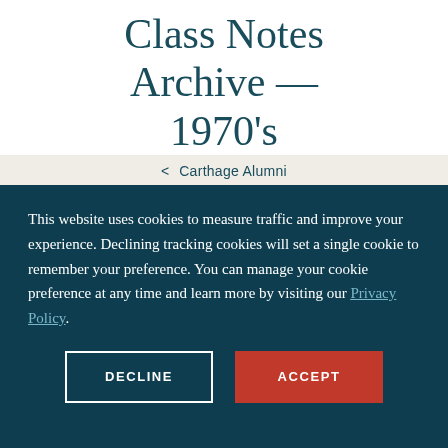Class Notes Archive — 1970's
< Carthage Alumni
This website uses cookies to measure traffic and improve your experience. Declining tracking cookies will set a single cookie to remember your preference. You can manage your cookie preference at any time and learn more by visiting our Privacy Policy.
DECLINE
ACCEPT